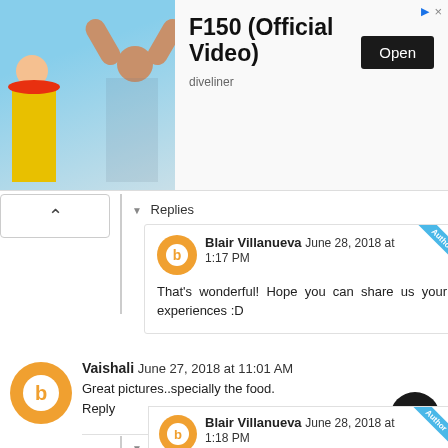[Figure (screenshot): Advertisement banner for F150 (Official Video) by diveliner, showing two figures in front of a sky background, with an Open button]
F150 (Official Video)
diveliner
Open
▾ Replies
Blair Villanueva June 28, 2018 at 1:17 PM
That's wonderful! Hope you can share us your experiences :D
Vaishali June 27, 2018 at 11:01 AM
Great pictures..specially the food.
Reply
▾ Replies
Blair Villanueva June 28, 2018 at 1:18 PM